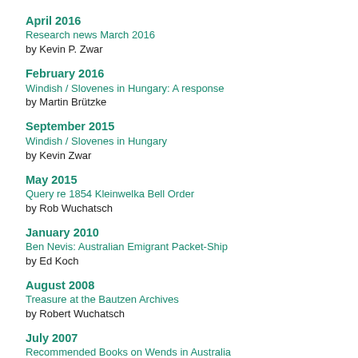April 2016
Research news March 2016
by Kevin P. Zwar
February 2016
Windish / Slovenes in Hungary: A response
by Martin Brützke
September 2015
Windish / Slovenes in Hungary
by Kevin Zwar
May 2015
Query re 1854 Kleinwelka Bell Order
by Rob Wuchatsch
January 2010
Ben Nevis: Australian Emigrant Packet-Ship
by Ed Koch
August 2008
Treasure at the Bautzen Archives
by Robert Wuchatsch
July 2007
Recommended Books on Wends in Australia
by Kevin Zwar